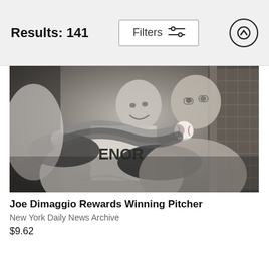Results: 141
Filters
[Figure (photo): Black and white photograph of Joe DiMaggio rewarding the winning pitcher, baseball players in uniforms embracing and celebrating in what appears to be a locker room setting.]
Joe Dimaggio Rewards Winning Pitcher
New York Daily News Archive
$9.62